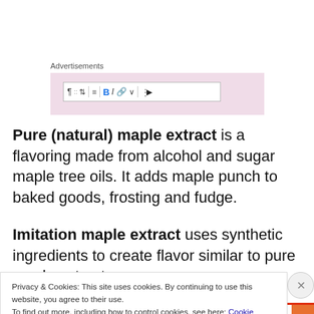[Figure (screenshot): Advertisements label with pink background toolbar/editor UI showing text formatting icons (paragraph, grid, arrows, align, Bold B, italic I, link, chevron, dots)]
Pure (natural) maple extract is a flavoring made from alcohol and sugar maple tree oils. It adds maple punch to baked goods, frosting and fudge.
Imitation maple extract uses synthetic ingredients to create flavor similar to pure maple extract.
Privacy & Cookies: This site uses cookies. By continuing to use this website, you agree to their use.
To find out more, including how to control cookies, see here: Cookie Policy
Close and accept